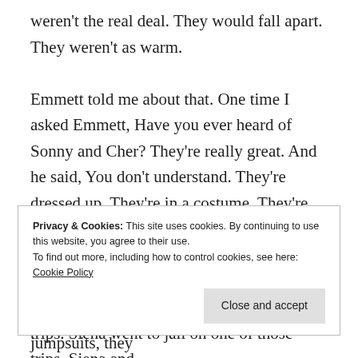weren't the real deal. They would fall apart. They weren't as warm.
Emmett told me about that. One time I asked Emmett, Have you ever heard of Sonny and Cher? They're really great. And he said, You don't understand. They're dressed up. They're in a costume. They're not really like that. They're entertainers. Oh. And then we went to L.A.… See, L.A. is where we went for money sometimes. I went on those trips. Siena went on those trips. Siena went to jail on one of those trips. Siena and
Privacy & Cookies: This site uses cookies. By continuing to use this website, you agree to their use.
To find out more, including how to control cookies, see here: Cookie Policy
[laughs] In those days, they didn't wear jumpsuits, they